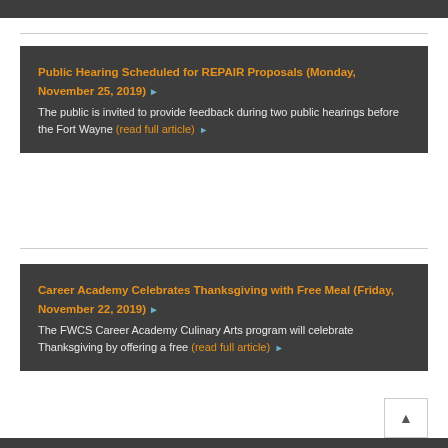Public Hearing Scheduled for REPAIR Proposals (Monday, November 25, 2019)
The public is invited to provide feedback during two public hearings before the Fort Wayne (read full article)
Career Academy Celebrates Thanksgiving with Free Meal (Friday, November 22, 2019)
The FWCS Career Academy Culinary Arts program will celebrate Thanksgiving by offering a free (read full article)